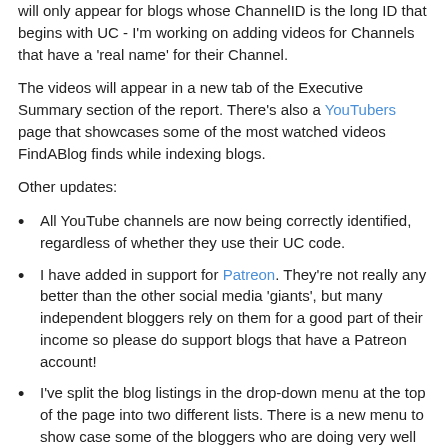will only appear for blogs whose ChannelID is the long ID that begins with UC - I'm working on adding videos for Channels that have a 'real name' for their Channel.
The videos will appear in a new tab of the Executive Summary section of the report. There's also a YouTubers page that showcases some of the most watched videos FindABlog finds while indexing blogs.
Other updates:
All YouTube channels are now being correctly identified, regardless of whether they use their UC code.
I have added in support for Patreon. They're not really any better than the other social media 'giants', but many independent bloggers rely on them for a good part of their income so please do support blogs that have a Patreon account!
I've split the blog listings in the drop-down menu at the top of the page into two different lists. There is a new menu to show case some of the bloggers who are doing very well on YouTube and also those who are using Patreon and